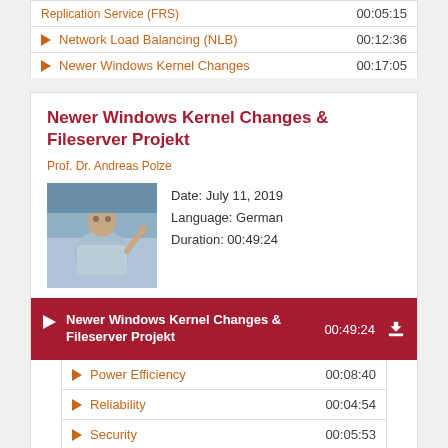Replication Service (FRS) — 00:05:15
Network Load Balancing (NLB) — 00:12:36
Newer Windows Kernel Changes — 00:17:05
Newer Windows Kernel Changes & Fileserver Projekt
Prof. Dr. Andreas Polze
[Figure (photo): Photo of a professor lecturing in front of a classroom]
Date: July 11, 2019
Language: German
Duration: 00:49:24
Newer Windows Kernel Changes & Fileserver Projekt — 00:49:24
Power Efficiency — 00:08:40
Reliability — 00:04:54
Security — 00:05:53
Multi- and Many-Core Processing — 00:13:53